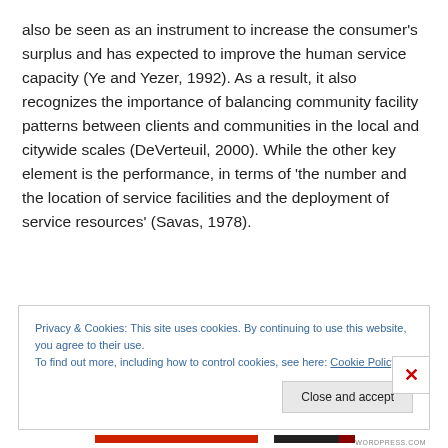also be seen as an instrument to increase the consumer's surplus and has expected to improve the human service capacity (Ye and Yezer, 1992). As a result, it also recognizes the importance of balancing community facility patterns between clients and communities in the local and citywide scales (DeVerteuil, 2000). While the other key element is the performance, in terms of 'the number and the location of service facilities and the deployment of service resources' (Savas, 1978).
Privacy & Cookies: This site uses cookies. By continuing to use this website, you agree to their use.
To find out more, including how to control cookies, see here: Cookie Policy